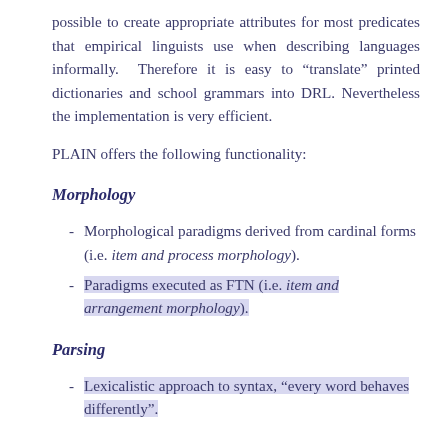possible to create appropriate attributes for most predicates that empirical linguists use when describing languages informally. Therefore it is easy to "translate" printed dictionaries and school grammars into DRL. Nevertheless the implementation is very efficient.
PLAIN offers the following functionality:
Morphology
Morphological paradigms derived from cardinal forms (i.e. item and process morphology).
Paradigms executed as FTN (i.e. item and arrangement morphology).
Parsing
Lexicalistic approach to syntax, "every word behaves differently".